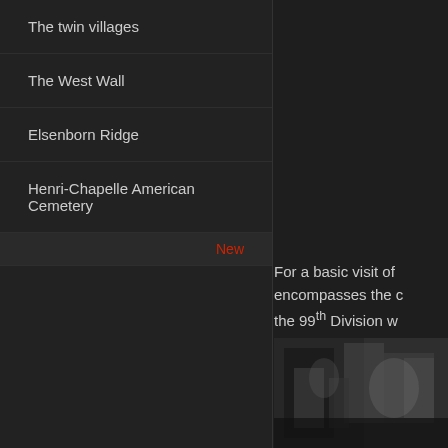The twin villages
The West Wall
Elsenborn Ridge
Henri-Chapelle American Cemetery
New
For a basic visit of encompasses the the 99th Division we chronologically, it w Regiments of the 2 and adapted to you
[Figure (photo): Black and white historical photograph, partially visible at bottom right of page]